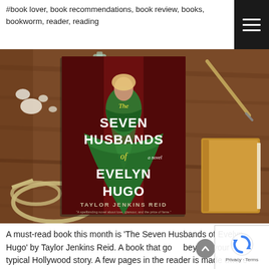#book lover, book recommendations, book review, books, bookworm, reader, reading
[Figure (photo): A book 'The Seven Husbands of Evelyn Hugo' by Taylor Jenkins Reid placed on a wooden table surrounded by decorative items including a rope, small glass bottle, seashells, a pen, and a yellow/tan journal.]
A must-read book this month is ‘The Seven Husbands of Evelyn Hugo’ by Taylor Jenkins Reid. A book that goes beyond your typical Hollywood story. A few pages in the reader is made aware of the various social issues